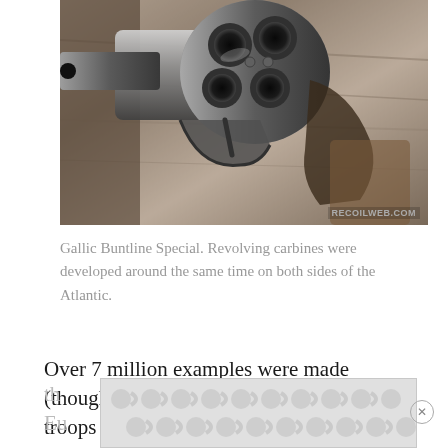[Figure (photo): Close-up photograph of an antique multi-barrel revolver (Gallic Buntline Special / revolving carbine), showing the cylinder and trigger mechanism, mounted against a wooden background. Watermark reads RECOILWEB.COM.]
Gallic Buntline Special. Revolving carbines were developed around the same time on both sides of the Atlantic.
Over 7 million examples were made (though not all by Saint-Étienne), and troops so equipped faced off against th[e] Eu[ropeans]